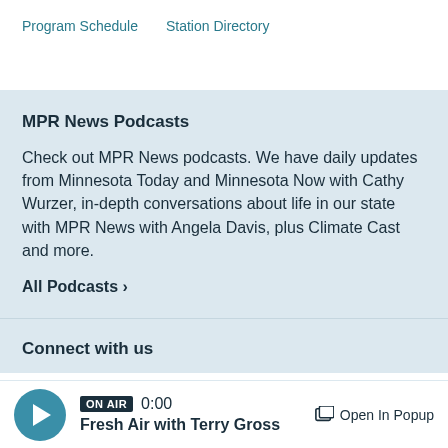Program Schedule   Station Directory
MPR News Podcasts
Check out MPR News podcasts. We have daily updates from Minnesota Today and Minnesota Now with Cathy Wurzer, in-depth conversations about life in our state with MPR News with Angela Davis, plus Climate Cast and more.
All Podcasts ›
Connect with us
ON AIR  0:00  Fresh Air with Terry Gross   Open In Popup